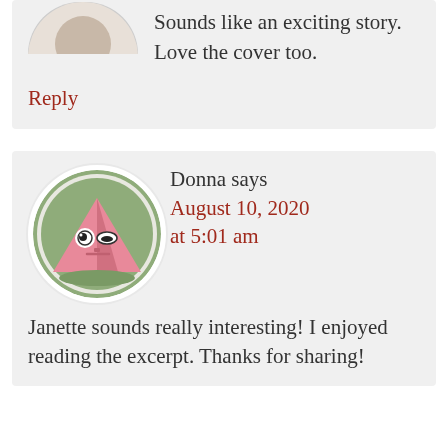Sounds like an exciting story. Love the cover too.
Reply
Donna says
August 10, 2020 at 5:01 am
[Figure (illustration): Circular avatar image with a cartoon character — a pink triangular creature with wide eyes on a green background]
Janette sounds really interesting! I enjoyed reading the excerpt. Thanks for sharing!